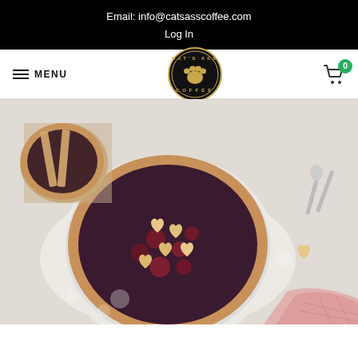Email: info@catsasscoffee.com
Log In
[Figure (logo): Cat's Ass Coffee circular logo with paw print]
[Figure (photo): Overhead photo of a cherry berry pie with heart-shaped pastry cutouts on top, in a white ceramic dish, on parchment paper, with a pink cloth in the corner and another pie in the background]